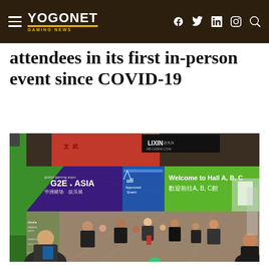YOGONET GAMING NEWS
attendees in its first in-person event since COVID-19
[Figure (photo): Crowded exhibition hall at G2E Asia gaming expo, showing attendees walking through a corridor with green and purple banners. Banners read 'global gaming expo G2E ASIA' and 'ufi Approved Event' and 'Welcome to Hall A, B, C' and Chinese characters. Sign in upper area reads 'LIXIN' casino branding.]